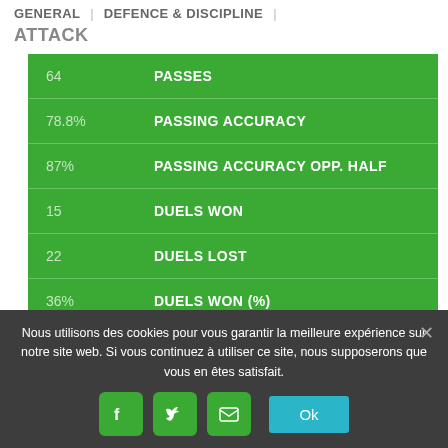GENERAL | DEFENCE & DISCIPLINE |
ATTACK
| Value | Stat |
| --- | --- |
| 64 | PASSES |
| 78.8% | PASSING ACCURACY |
| 87% | PASSING ACCURACY OPP. HALF |
| 15 | DUELS WON |
| 22 | DUELS LOST |
| 36% | DUELS WON (%) |
Nous utilisons des cookies pour vous garantir la meilleure expérience sur notre site web. Si vous continuez à utiliser ce site, nous supposerons que vous en êtes satisfait.